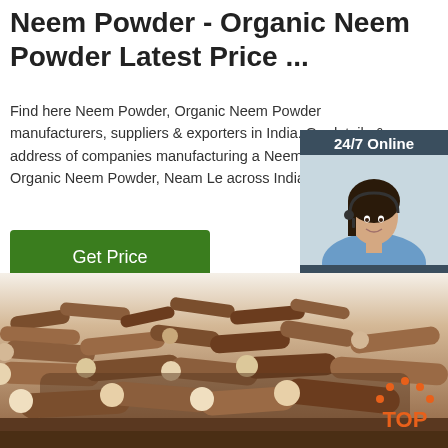Neem Powder - Organic Neem Powder Latest Price ...
Find here Neem Powder, Organic Neem Powder manufacturers, suppliers & exporters in India. Get details & address of companies manufacturing and selling Neem Powder, Organic Neem Powder, Neam Leaf Powder across India.
[Figure (other): Green 'Get Price' button]
[Figure (other): 24/7 Online chat widget with customer support agent photo, 'Click here for free chat!' text and orange QUOTATION button]
[Figure (photo): Photo of neem sticks/bark pieces piled up, brown woody material filling the lower portion of the page]
[Figure (logo): TOP logo in orange with house/arch icon above the text]